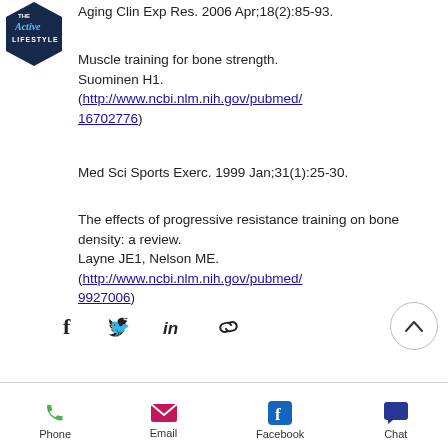[Figure (logo): The Active Lifestyle hexagon logo in dark navy blue]
Aging Clin Exp Res. 2006 Apr;18(2):85-93.
Muscle training for bone strength. Suominen H1. (http://www.ncbi.nlm.nih.gov/pubmed/16702776)
Med Sci Sports Exerc. 1999 Jan;31(1):25-30.
The effects of progressive resistance training on bone density: a review. Layne JE1, Nelson ME. (http://www.ncbi.nlm.nih.gov/pubmed/9927006)
[Figure (infographic): Social share icons: Facebook, Twitter, LinkedIn, link/chain icon, and scroll-to-top circle button]
Phone  Email  Facebook  Chat